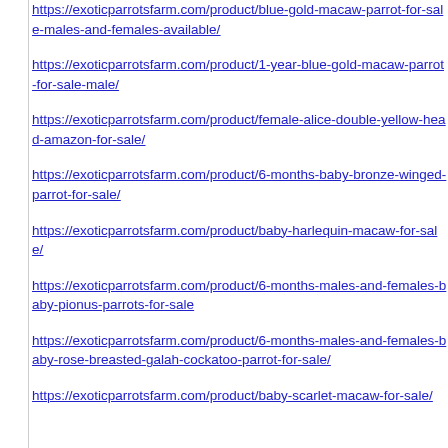https://exoticparrotsfarm.com/product/blue-gold-macaw-parrot-for-sale-males-and-females-available/
https://exoticparrotsfarm.com/product/1-year-blue-gold-macaw-parrot-for-sale-male/
https://exoticparrotsfarm.com/product/female-alice-double-yellow-head-amazon-for-sale/
https://exoticparrotsfarm.com/product/6-months-baby-bronze-winged-parrot-for-sale/
https://exoticparrotsfarm.com/product/baby-harlequin-macaw-for-sale/
https://exoticparrotsfarm.com/product/6-months-males-and-females-baby-pionus-parrots-for-sale
https://exoticparrotsfarm.com/product/6-months-males-and-females-baby-rose-breasted-galah-cockatoo-parrot-for-sale/
https://exoticparrotsfarm.com/product/baby-scarlet-macaw-for-sale/